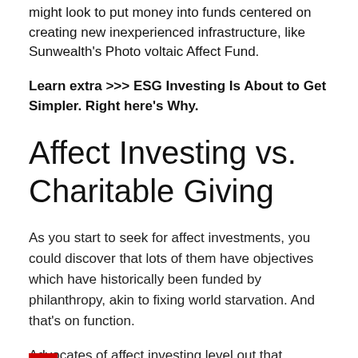might look to put money into funds centered on creating new inexperienced infrastructure, like Sunwealth's Photo voltaic Affect Fund.
Learn extra >>> ESG Investing Is About to Get Simpler. Right here's Why.
Affect Investing vs. Charitable Giving
As you start to seek for affect investments, you could discover that lots of them have objectives which have historically been funded by philanthropy, akin to fixing world starvation. And that’s on function.
Advocates of affect investing level out that charitable giving alone can’t resolve the entire world’s issues. However in keeping with Rockefeller Philanthropy